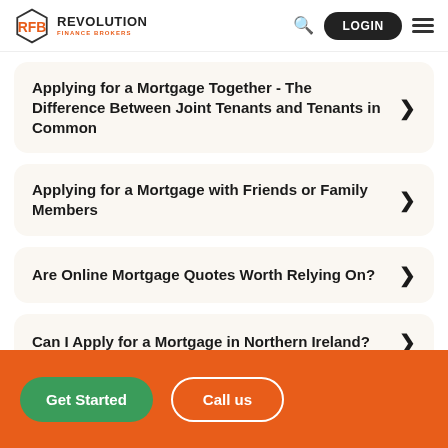REVOLUTION FINANCE BROKERS
Applying for a Mortgage Together - The Difference Between Joint Tenants and Tenants in Common
Applying for a Mortgage with Friends or Family Members
Are Online Mortgage Quotes Worth Relying On?
Can I Apply for a Mortgage in Northern Ireland?
Get Started
Call us